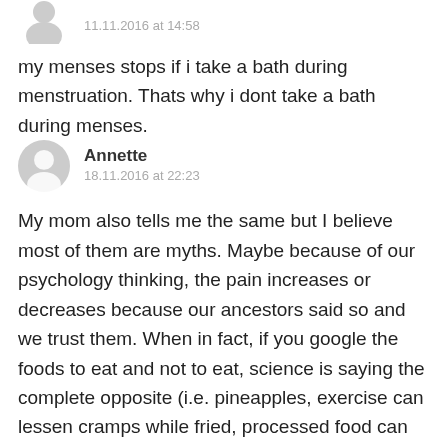11.11.2016 at 14:58
my menses stops if i take a bath during menstruation. Thats why i dont take a bath during menses.
Annette
18.11.2016 at 22:23
My mom also tells me the same but I believe most of them are myths. Maybe because of our psychology thinking, the pain increases or decreases because our ancestors said so and we trust them. When in fact, if you google the foods to eat and not to eat, science is saying the complete opposite (i.e. pineapples, exercise can lessen cramps while fried, processed food can increase cramps). I am actually looking for a blog written by a fil-chi as well who can explain the reasons behind these advices so I can conclude to myself if it is a fact or a myth.